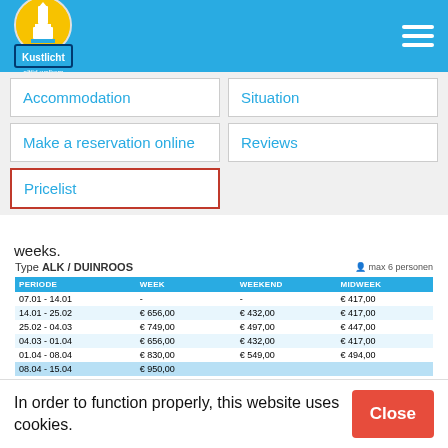Kustlicht
Accommodation
Situation
Make a reservation online
Reviews
Pricelist
weeks.
| PERIODE | WEEK | WEEKEND | MIDWEEK |
| --- | --- | --- | --- |
| 07.01 - 14.01 | - | - | € 417,00 |
| 14.01 - 25.02 | € 656,00 | € 432,00 | € 417,00 |
| 25.02 - 04.03 | € 749,00 | € 497,00 | € 447,00 |
| 04.03 - 01.04 | € 656,00 | € 432,00 | € 417,00 |
| 01.04 - 08.04 | € 830,00 | € 549,00 | € 494,00 |
| 08.04 - 15.04 | € 950,00 |  |  |
| 15.04 - 22.04 | € 1.050,00 | - | - |
| 22.04 - 29.04 | € 988,00 | € 645,00 | € 559,00 |
| 29.04 - 06.05 | € 1.050,00 | € 662,00 | € 576,00 |
| 06.05 - 03.06 | € 988,00 | € 645,00 | € 559,00 |
| 03.06 - 24.06 | € 988,00 | - | - |
| 24.06 - 01.07 | € 1.050,00 |  |  |
| 01.07 - 08.07 | € 1.179,00 | - | - |
| 08.07 - 15.07 | € 1.546,00 |  |  |
In order to function properly, this website uses cookies.